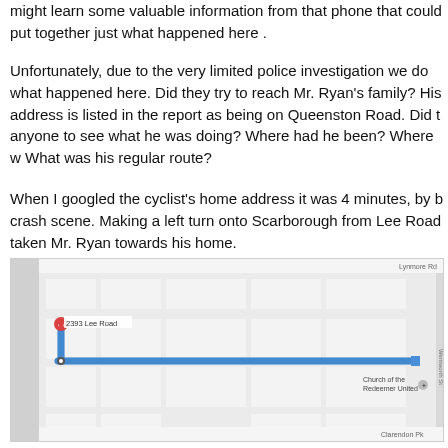might learn some valuable information from that phone that could put together just what happened here.
Unfortunately, due to the very limited police investigation we do not know what happened here. Did they try to reach Mr. Ryan's family? His home address is listed in the report as being on Queenston Road. Did they ask anyone to see what he was doing? Where had he been? Where was he going? What was his regular route?
When I googled the cyclist's home address it was 4 minutes, by bike, from the crash scene. Making a left turn onto Scarborough from Lee Road would have taken Mr. Ryan towards his home.
[Figure (map): Google Maps screenshot showing a route near 2393 Lee Road with a blue path indicating a 4 min, 0.6 mile bike route. A red map pin marks 2393 Lee Road. A tooltip shows '4 min 0.6 miles' with a bike icon. Church of the Redeemer United is visible in the lower right.]